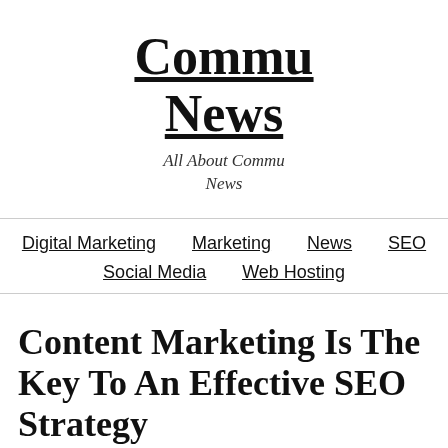Commu News
All About Commu News
Digital Marketing  Marketing  News  SEO  Social Media  Web Hosting
Content Marketing Is The Key To An Effective SEO Strategy
May 26